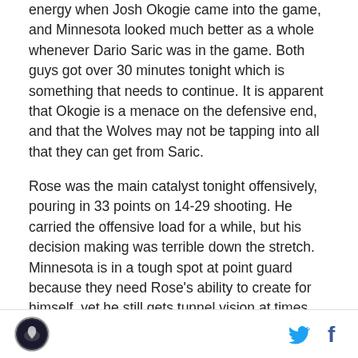energy when Josh Okogie came into the game, and Minnesota looked much better as a whole whenever Dario Saric was in the game. Both guys got over 30 minutes tonight which is something that needs to continue. It is apparent that Okogie is a menace on the defensive end, and that the Wolves may not be tapping into all that they can get from Saric.
Rose was the main catalyst tonight offensively, pouring in 33 points on 14-29 shooting. He carried the offensive load for a while, but his decision making was terrible down the stretch. Minnesota is in a tough spot at point guard because they need Rose's ability to create for himself, yet he still gets tunnel vision at times like he did down the stretch tonight.